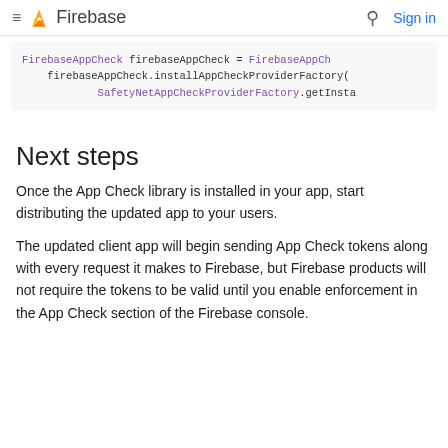Firebase — Sign in
[Figure (screenshot): Code block showing Firebase App Check installation code: FirebaseAppCheck firebaseAppCheck = FirebaseAppCh... firebaseAppCheck.installAppCheckProviderFactory( SafetyNetAppCheckProviderFactory.getInsta...]
Next steps
Once the App Check library is installed in your app, start distributing the updated app to your users.
The updated client app will begin sending App Check tokens along with every request it makes to Firebase, but Firebase products will not require the tokens to be valid until you enable enforcement in the App Check section of the Firebase console.